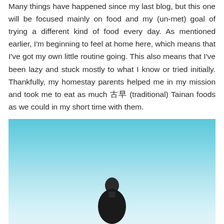Many things have happened since my last blog, but this one will be focused mainly on food and my (un-met) goal of trying a different kind of food every day. As mentioned earlier, I'm beginning to feel at home here, which means that I've got my own little routine going. This also means that I've been lazy and stuck mostly to what I know or tried initially. Thankfully, my homestay parents helped me in my mission and took me to eat as much 古早 (traditional) Tainan foods as we could in my short time with them.
[Figure (photo): A photo with a bright blue sky gradient background and a person visible at the bottom center of the image.]